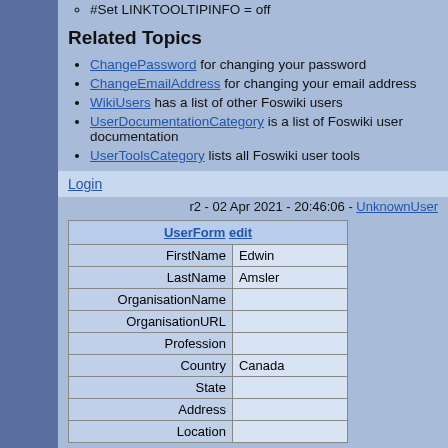#Set LINKTOOLTIPINFO = off
Related Topics
ChangePassword for changing your password
ChangeEmailAddress for changing your email address
WikiUsers has a list of other Foswiki users
UserDocumentationCategory is a list of Foswiki user documentation
UserToolsCategory lists all Foswiki user tools
Login
r2 - 02 Apr 2021 - 20:46:06 - UnknownUser
| UserForm edit |
| --- |
| FirstName | Edwin |
| LastName | Amsler |
| OrganisationName |  |
| OrganisationURL |  |
| Profession |  |
| Country | Canada |
| State |  |
| Address |  |
| Location |  |